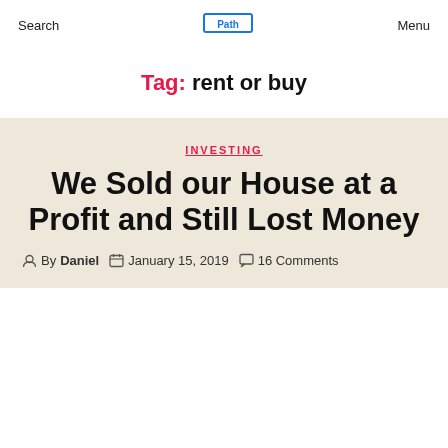Search   [logo]   Menu
Tag: rent or buy
INVESTING
We Sold our House at a Profit and Still Lost Money
By Daniel   January 15, 2019   16 Comments